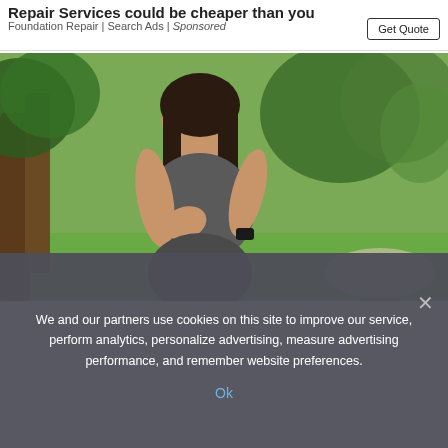Repair Services could be cheaper than you think
Foundation Repair | Search Ads | Sponsored
Get Quote
[Figure (photo): Woman in athletic wear holding her chest in apparent pain or discomfort, standing outdoors in a park with trees in background]
We and our partners use cookies on this site to improve our service, perform analytics, personalize advertising, measure advertising performance, and remember website preferences.
Ok